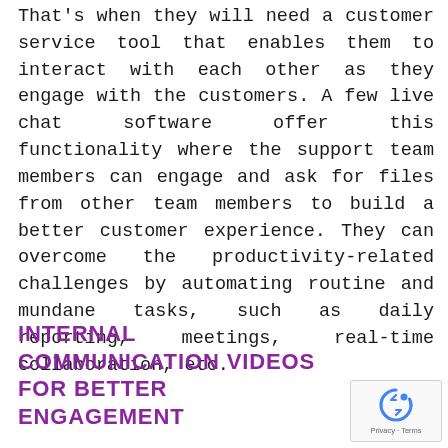That's when they will need a customer service tool that enables them to interact with each other as they engage with the customers. A few live chat software offer this functionality where the support team members can engage and ask for files from other team members to build a better customer experience. They can overcome the productivity-related challenges by automating routine and mundane tasks, such as daily reporting, meetings, real-time collaboration, etc.
INTERNAL COMMUNICATION VIDEOS FOR BETTER ENGAGEMENT